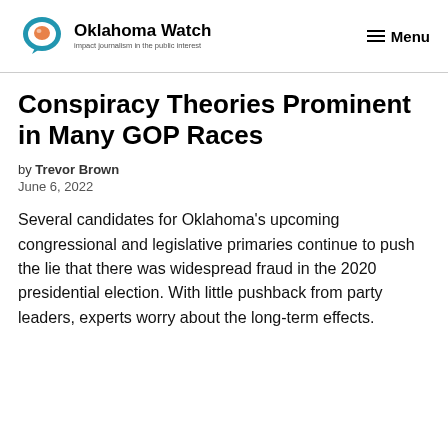Oklahoma Watch — impact journalism in the public interest | Menu
Conspiracy Theories Prominent in Many GOP Races
by Trevor Brown
June 6, 2022
Several candidates for Oklahoma's upcoming congressional and legislative primaries continue to push the lie that there was widespread fraud in the 2020 presidential election. With little pushback from party leaders, experts worry about the long-term effects.